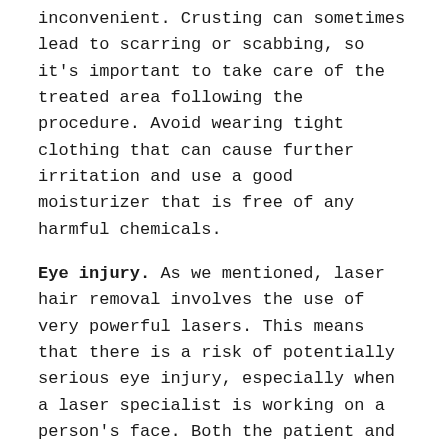inconvenient. Crusting can sometimes lead to scarring or scabbing, so it's important to take care of the treated area following the procedure. Avoid wearing tight clothing that can cause further irritation and use a good moisturizer that is free of any harmful chemicals.
Eye injury. As we mentioned, laser hair removal involves the use of very powerful lasers. This means that there is a risk of potentially serious eye injury, especially when a laser specialist is working on a person's face. Both the patient and the technician should wear protective eye equipment to help prevent injury while the treatment is carried out.
Sure, some of these risks may sound a bit scary, but the truth is that they can easily be avoided by getting